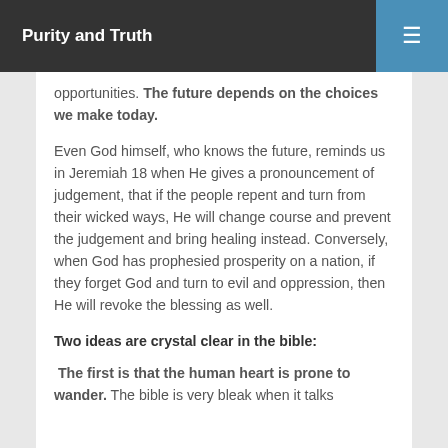Purity and Truth
opportunities. The future depends on the choices we make today.
Even God himself, who knows the future, reminds us in Jeremiah 18 when He gives a pronouncement of judgement, that if the people repent and turn from their wicked ways, He will change course and prevent the judgement and bring healing instead. Conversely, when God has prophesied prosperity on a nation, if they forget God and turn to evil and oppression, then He will revoke the blessing as well.
Two ideas are crystal clear in the bible:
The first is that the human heart is prone to wander. The bible is very bleak when it talks